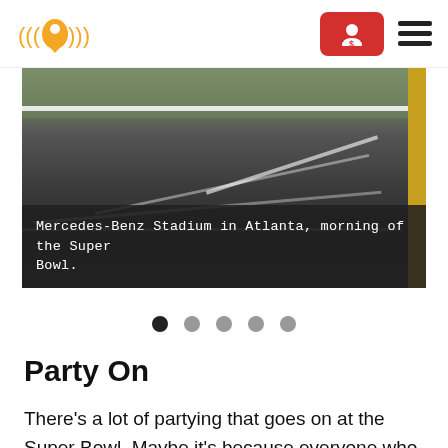[Figure (logo): Orange location pin with signal waves logo on left; red rounded rectangle button with account icon in center-right; hamburger menu icon on far right]
[Figure (photo): Road/highway view near Mercedes-Benz Stadium in Atlanta on the morning of the Super Bowl. Shows an asphalt road with white lane markings, concrete barriers, greenery in background, and a yellow vehicle on the right edge.]
Mercedes-Benz Stadium in Atlanta, morning of the Super Bowl.
• • • • •  (slideshow dots, first dot active)
Party On
There's a lot of partying that goes on at the Super Bowl. Maybe it's because everyone who isn't